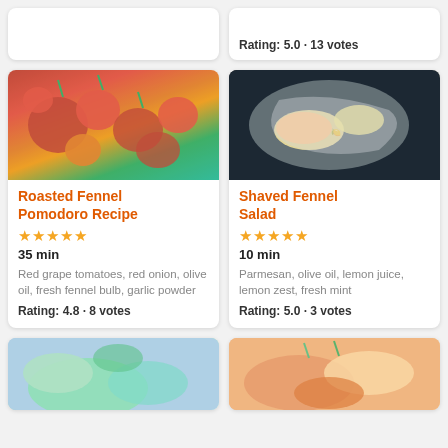[Figure (photo): Partial card top-left, white card with no image visible]
Rating: 5.0 · 13 votes
[Figure (photo): Roasted tomatoes and fennel bulb dish overhead shot]
Roasted Fennel Pomodoro Recipe
★★★★★
35 min
Red grape tomatoes, red onion, olive oil, fresh fennel bulb, garlic powder
Rating: 4.8 · 8 votes
[Figure (photo): Shaved fennel salad with lemon slices in a pan]
Shaved Fennel Salad
★★★★★
10 min
Parmesan, olive oil, lemon juice, lemon zest, fresh mint
Rating: 5.0 · 3 votes
[Figure (photo): Bottom partial card showing green fennel dish]
[Figure (photo): Bottom partial card showing roasted fennel with herbs]